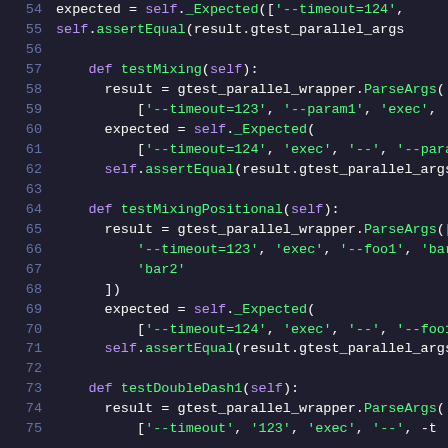[Figure (screenshot): Python source code snippet showing test methods testMixing, testMixingPositional, and testDoubleDash1, with syntax highlighting. Line numbers 54-75 visible. Dark background with purple keywords, green strings/function names, and white identifiers.]